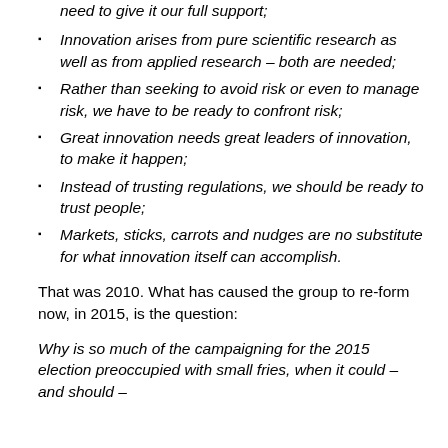need to give it our full support;
Innovation arises from pure scientific research as well as from applied research – both are needed;
Rather than seeking to avoid risk or even to manage risk, we have to be ready to confront risk;
Great innovation needs great leaders of innovation, to make it happen;
Instead of trusting regulations, we should be ready to trust people;
Markets, sticks, carrots and nudges are no substitute for what innovation itself can accomplish.
That was 2010. What has caused the group to re-form now, in 2015, is the question:
Why is so much of the campaigning for the 2015 election preoccupied with small fries, when it could – and should –